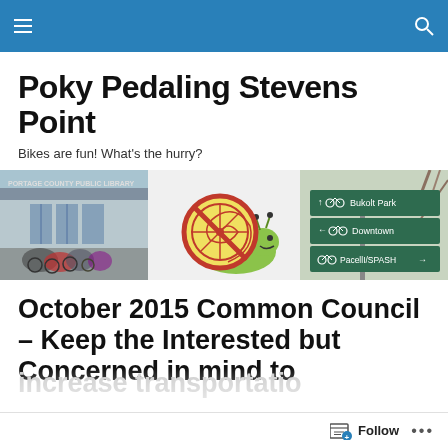Navigation bar with menu and search icons
Poky Pedaling Stevens Point
Bikes are fun! What's the hurry?
[Figure (photo): Three images in a row: a library with bicycles parked outside, a snail logo with a bicycle wheel shell, and a green directional sign showing Bukolt Park, Downtown, and PacellI/SPASH]
October 2015 Common Council – Keep the Interested but Concerned in mind to increase transportation